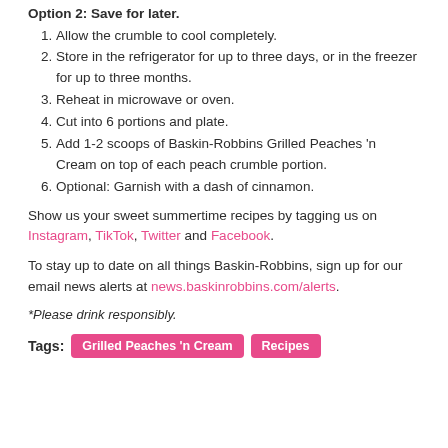Option 2: Save for later.
Allow the crumble to cool completely.
Store in the refrigerator for up to three days, or in the freezer for up to three months.
Reheat in microwave or oven.
Cut into 6 portions and plate.
Add 1-2 scoops of Baskin-Robbins Grilled Peaches 'n Cream on top of each peach crumble portion.
Optional: Garnish with a dash of cinnamon.
Show us your sweet summertime recipes by tagging us on Instagram, TikTok, Twitter and Facebook.
To stay up to date on all things Baskin-Robbins, sign up for our email news alerts at news.baskinrobbins.com/alerts.
*Please drink responsibly.
Tags: Grilled Peaches 'n Cream  Recipes